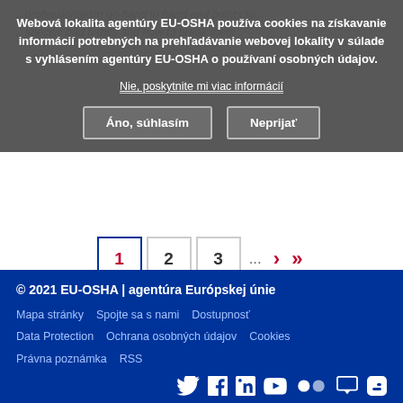... professionalism go hand in hand and points to ... specific bad habits and how to break them
Webová lokalita agentúry EU-OSHA používa cookies na získavanie informácií potrebných na prehľadávanie webovej lokality v súlade s vyhlásením agentúry EU-OSHA o používaní osobných údajov.
Nie, poskytnite mi viac informácií
Pozri viac →
Áno, súhlasím
Neprijať
1  2  3  ...  >  >>
© 2021 EU-OSHA | agentúra Európskej únie
Mapa stránky   Spojte sa s nami   Dostupnosť
Data Protection   Ochrana osobných údajov   Cookies
Právna poznámka   RSS